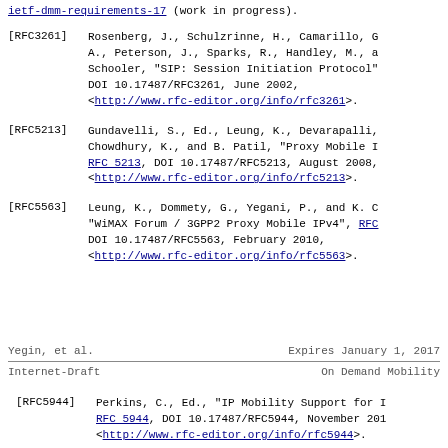ietf-dmm-requirements-17 (work in progress).
[RFC3261] Rosenberg, J., Schulzrinne, H., Camarillo, G., A., Peterson, J., Sparks, R., Handley, M., a Schooler, "SIP: Session Initiation Protocol", DOI 10.17487/RFC3261, June 2002, <http://www.rfc-editor.org/info/rfc3261>.
[RFC5213] Gundavelli, S., Ed., Leung, K., Devarapalli, Chowdhury, K., and B. Patil, "Proxy Mobile I RFC 5213, DOI 10.17487/RFC5213, August 2008, <http://www.rfc-editor.org/info/rfc5213>.
[RFC5563] Leung, K., Dommety, G., Yegani, P., and K. C "WiMAX Forum / 3GPP2 Proxy Mobile IPv4", RFC DOI 10.17487/RFC5563, February 2010, <http://www.rfc-editor.org/info/rfc5563>.
Yegin, et al.                    Expires January 1, 2017
Internet-Draft                        On Demand Mobility
[RFC5944] Perkins, C., Ed., "IP Mobility Support for I RFC 5944, DOI 10.17487/RFC5944, November 201 <http://www.rfc-editor.org/info/rfc5944>.